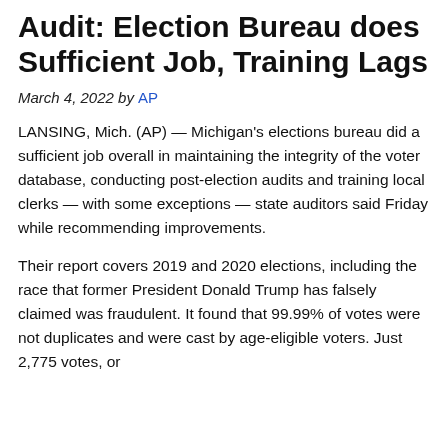Audit: Election Bureau does Sufficient Job, Training Lags
March 4, 2022 by AP
LANSING, Mich. (AP) — Michigan's elections bureau did a sufficient job overall in maintaining the integrity of the voter database, conducting post-election audits and training local clerks — with some exceptions — state auditors said Friday while recommending improvements.
Their report covers 2019 and 2020 elections, including the race that former President Donald Trump has falsely claimed was fraudulent. It found that 99.99% of votes were not duplicates and were cast by age-eligible voters. Just 2,775 votes, or